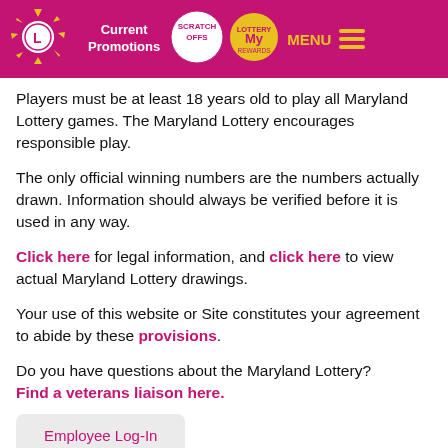Current Promotions | SCRATCH OFFS | My Rewards | MENU
Players must be at least 18 years old to play all Maryland Lottery games. The Maryland Lottery encourages responsible play.
The only official winning numbers are the numbers actually drawn. Information should always be verified before it is used in any way.
Click here for legal information, and click here to view actual Maryland Lottery drawings.
Your use of this website or Site constitutes your agreement to abide by these provisions.
Do you have questions about the Maryland Lottery? Find a veterans liaison here.
Employee Log-In